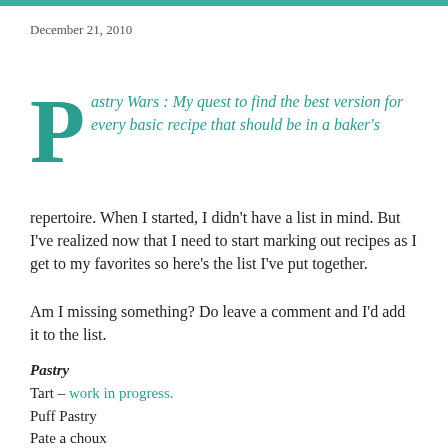December 21, 2010
Pastry Wars : My quest to find the best version for every basic recipe that should be in a baker's repertoire. When I started, I didn't have a list in mind. But I've realized now that I need to start marking out recipes as I get to my favorites so here's the list I've put together.
Am I missing something? Do leave a comment and I'd add it to the list.
Pastry
Tart – work in progress.
Puff Pastry
Pate a choux